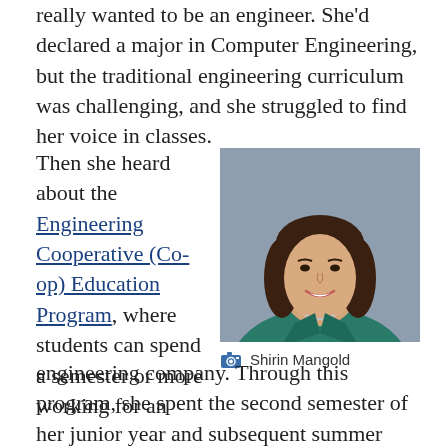really wanted to be an engineer. She'd declared a major in Computer Engineering, but the traditional engineering curriculum was challenging, and she struggled to find her voice in classes.
Then she heard about the Engineering Cooperative (Co-op) Education Program, where students can spend a semester or more working for an engineering company.
[Figure (photo): Professional headshot of Shirin Mangold, a woman with long brown hair wearing a teal blazer, smiling against a grey background.]
Shirin Mangold
engineering company. Through this program, she spent the second semester of her junior year and subsequent summer working for a company called Northern Telecom, which was a leader in